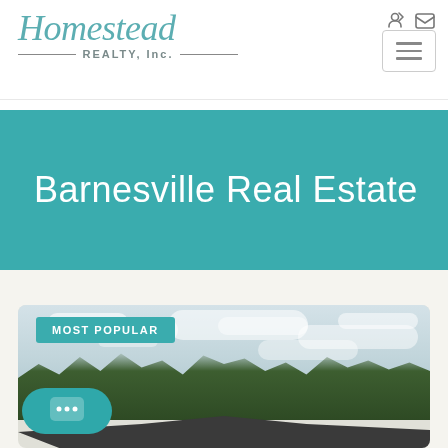[Figure (logo): Homestead Realty, Inc. logo with teal script font and decorative lines]
Barnesville Real Estate
[Figure (photo): Property listing photo showing a house rooftop with trees and cloudy sky, labeled MOST POPULAR]
[Figure (other): Chat bubble button in teal at bottom left]